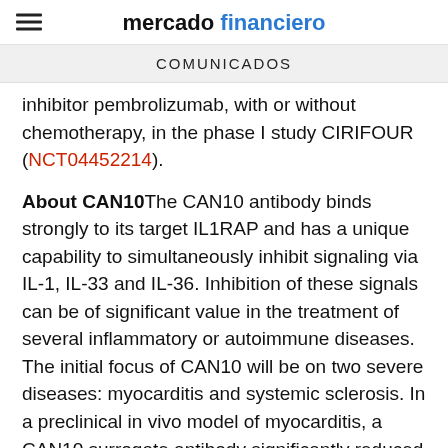mercado financiero
COMUNICADOS
inhibitor pembrolizumab, with or without chemotherapy, in the phase I study CIRIFOUR (NCT04452214).
About CAN10The CAN10 antibody binds strongly to its target IL1RAP and has a unique capability to simultaneously inhibit signaling via IL-1, IL-33 and IL-36. Inhibition of these signals can be of significant value in the treatment of several inflammatory or autoimmune diseases. The initial focus of CAN10 will be on two severe diseases: myocarditis and systemic sclerosis. In a preclinical in vivo model of myocarditis, a CAN10 surrogate antibody significantly reduced